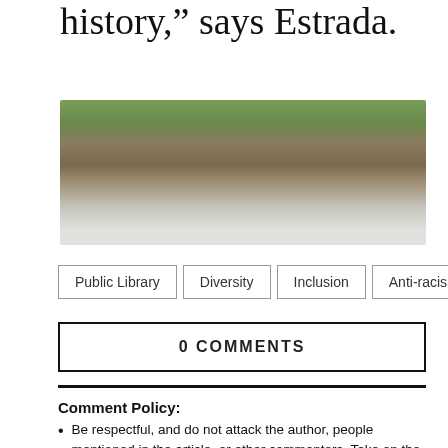history,” says Estrada.
[Figure (photo): Outdoor photo showing trees with foliage, fading to white at the bottom]
Public Library   Diversity   Inclusion   Anti-racism
0 COMMENTS
Comment Policy:
Be respectful, and do not attack the author, people mentioned in the article, or other commenters. Take on the idea, not the messenger.
Don’t use obscene, profane, or vulgar language.